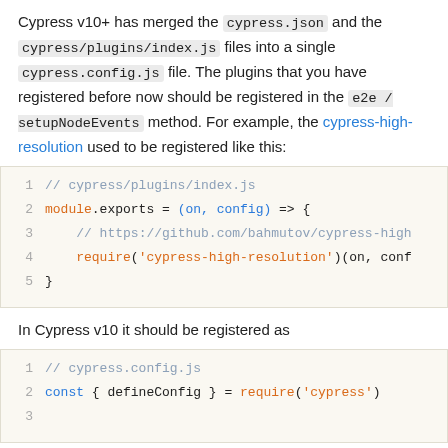Cypress v10+ has merged the cypress.json and the cypress/plugins/index.js files into a single cypress.config.js file. The plugins that you have registered before now should be registered in the e2e / setupNodeEvents method. For example, the cypress-high-resolution used to be registered like this:
[Figure (screenshot): Code block showing cypress/plugins/index.js with module.exports arrow function, comment linking to github.com/bahmutov/cypress-high, and require('cypress-high-resolution')(on, conf]
In Cypress v10 it should be registered as
[Figure (screenshot): Code block showing cypress.config.js with const { defineConfig } = require('cypress') on line 2, line 3 empty]